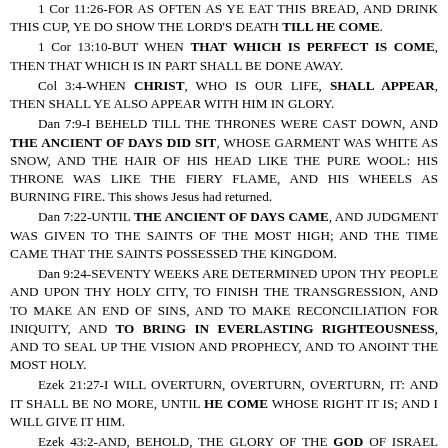1 Cor 11:26-FOR AS OFTEN AS YE EAT THIS BREAD, AND DRINK THIS CUP, YE DO SHOW THE LORD'S DEATH TILL HE COME.
1 Cor 13:10-BUT WHEN THAT WHICH IS PERFECT IS COME, THEN THAT WHICH IS IN PART SHALL BE DONE AWAY.
Col 3:4-WHEN CHRIST, WHO IS OUR LIFE, SHALL APPEAR, THEN SHALL YE ALSO APPEAR WITH HIM IN GLORY.
Dan 7:9-I BEHELD TILL THE THRONES WERE CAST DOWN, AND THE ANCIENT OF DAYS DID SIT, WHOSE GARMENT WAS WHITE AS SNOW, AND THE HAIR OF HIS HEAD LIKE THE PURE WOOL: HIS THRONE WAS LIKE THE FIERY FLAME, AND HIS WHEELS AS BURNING FIRE. This shows Jesus had returned.
Dan 7:22-UNTIL THE ANCIENT OF DAYS CAME, AND JUDGMENT WAS GIVEN TO THE SAINTS OF THE MOST HIGH; AND THE TIME CAME THAT THE SAINTS POSSESSED THE KINGDOM.
Dan 9:24-SEVENTY WEEKS ARE DETERMINED UPON THY PEOPLE AND UPON THY HOLY CITY, TO FINISH THE TRANSGRESSION, AND TO MAKE AN END OF SINS, AND TO MAKE RECONCILIATION FOR INIQUITY, AND TO BRING IN EVERLASTING RIGHTEOUSNESS, AND TO SEAL UP THE VISION AND PROPHECY, AND TO ANOINT THE MOST HOLY.
Ezek 21:27-I WILL OVERTURN, OVERTURN, OVERTURN, IT: AND IT SHALL BE NO MORE, UNTIL HE COME WHOSE RIGHT IT IS; AND I WILL GIVE IT HIM.
Ezek 43:2-AND, BEHOLD, THE GLORY OF THE GOD OF ISRAEL CAME FROM THE WAY OF THE EAST: AND HIS VOICE WAS LIKE A NOISE OF MANY WATERS: AND THE EARTH SHINED WITH HIS GLORY.
Ezek 44:2-THEN SAID THE LORD UNTO ME; THIS GATE SHALL BE SHUT, IT SHALL NOT BE OPENED, AND NO MAN SHALL ENTER IN BY